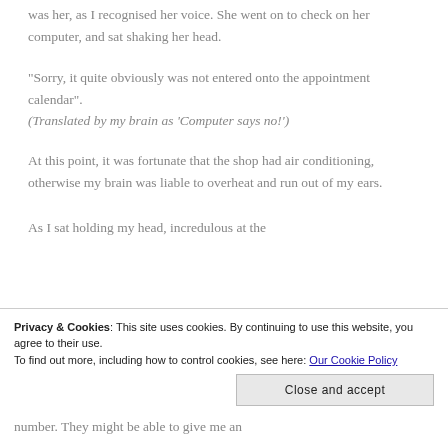was her, as I recognised her voice. She went on to check on her computer, and sat shaking her head.
"Sorry, it quite obviously was not entered onto the appointment calendar".
(Translated by my brain as ‘Computer says no!’)
At this point, it was fortunate that the shop had air conditioning, otherwise my brain was liable to overheat and run out of my ears.
As I sat holding my head, incredulous at the
Privacy & Cookies: This site uses cookies. By continuing to use this website, you agree to their use.
To find out more, including how to control cookies, see here: Our Cookie Policy
number. They might be able to give me an